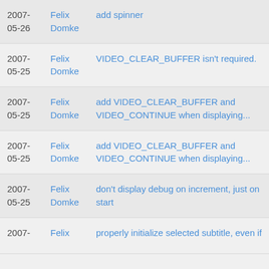2007-05-26 | Felix Domke | add spinner
2007-05-25 | Felix Domke | VIDEO_CLEAR_BUFFER isn't required.
2007-05-25 | Felix Domke | add VIDEO_CLEAR_BUFFER and VIDEO_CONTINUE when displaying...
2007-05-25 | Felix Domke | add VIDEO_CLEAR_BUFFER and VIDEO_CONTINUE when displaying...
2007-05-25 | Felix Domke | don't display debug on increment, just on start
2007- | Felix | properly initialize selected subtitle, even if